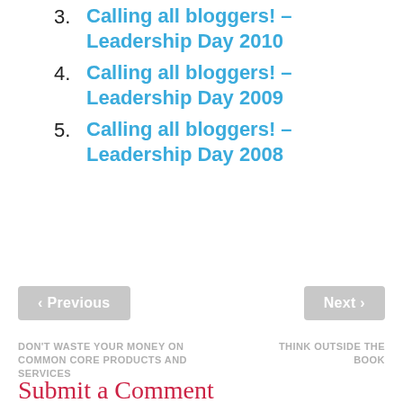3. Calling all bloggers! – Leadership Day 2010
4. Calling all bloggers! – Leadership Day 2009
5. Calling all bloggers! – Leadership Day 2008
‹ Previous
Next ›
DON'T WASTE YOUR MONEY ON COMMON CORE PRODUCTS AND SERVICES
THINK OUTSIDE THE BOOK
Submit a Comment